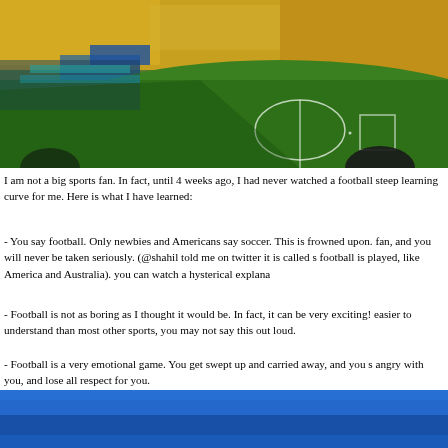[Figure (photo): Aerial view of a large football stadium filled with yellow-clad fans, green pitch visible from upper stand perspective]
I am not a big sports fan. In fact, until 4 weeks ago, I had never watched a football steep learning curve for me. Here is what I have learned:
- You say football. Only newbies and Americans say soccer. This is frowned upon. fan, and you will never be taken seriously. (@shahil told me on twitter it is called s football is played, like America and Australia). you can watch a hysterical explana
- Football is not as boring as I thought it would be. In fact, it can be very exciting! easier to understand than most other sports, you may not say this out loud.
- Football is a very emotional game. You get swept up and carried away, and you s angry with you, and lose all respect for you.
[Figure (photo): Blue background image, partial view, appears to be an indoor event or stage setting]